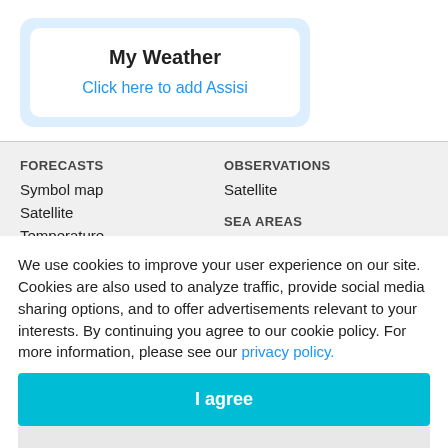My Weather
Click here to add Assisi
FORECASTS
Symbol map
Satellite
Temperature
Cloudiness
OBSERVATIONS
Satellite
SEA AREAS
Baltic Sea, FI
We use cookies to improve your user experience on our site. Cookies are also used to analyze traffic, provide social media sharing options, and to offer advertisements relevant to your interests. By continuing you agree to our cookie policy. For more information, please see our privacy policy.
I agree